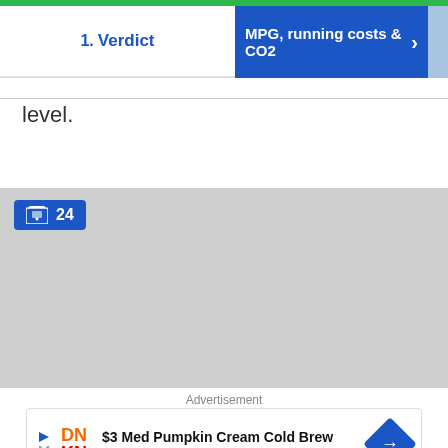1. Verdict | MPG, running costs & CO2
level.
[Figure (photo): Image gallery placeholder area with a badge showing 24 images]
Advertisement
[Figure (infographic): Dunkin' advertisement: $3 Med Pumpkin Cream Cold Brew, Dunkin']